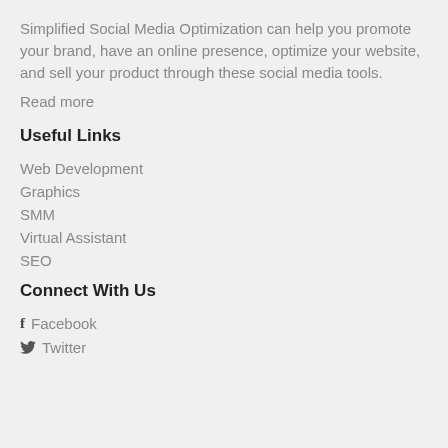Simplified Social Media Optimization can help you promote your brand, have an online presence, optimize your website, and sell your product through these social media tools.
Read more
Useful Links
Web Development
Graphics
SMM
Virtual Assistant
SEO
Connect With Us
Facebook
Twitter